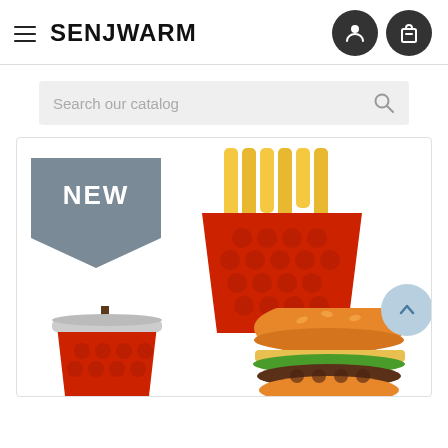SENJWARM
Search our catalog
[Figure (screenshot): E-commerce product listing page for SENJWARM showing pop-it fidget toys shaped like fast food: french fries in a red container, a drink cup with straw, and a burger. A 'NEW' badge is displayed on the product card. Navigation icons for user account and shopping bag are shown in the header.]